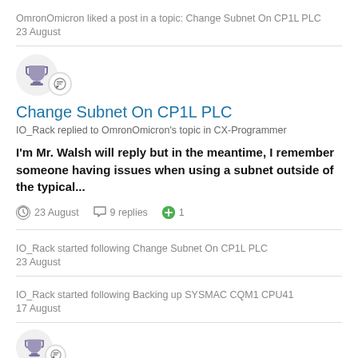OmronOmicron liked a post in a topic: Change Subnet On CP1L PLC
23 August
Change Subnet On CP1L PLC
IO_Rack replied to OmronOmicron's topic in CX-Programmer
I'm Mr. Walsh will reply but in the meantime, I remember someone having issues when using a subnet outside of the typical...
23 August  9 replies  1
IO_Rack started following Change Subnet On CP1L PLC
23 August
IO_Rack started following Backing up SYSMAC CQM1 CPU41
17 August